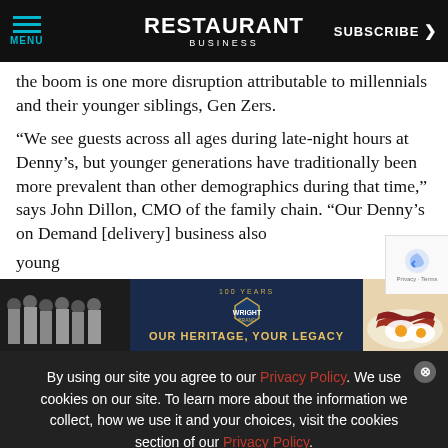RESTAURANT BUSINESS | MENU | SUBSCRIBE
the boom is one more disruption attributable to millennials and their younger siblings, Gen Zers.
“We see guests across all ages during late-night hours at Denny’s, but younger generations have traditionally been more prevalent than other demographics during that time,” says John Dillon, CMO of the family chain. “Our Denny’s on Demand [delivery] business also young
[Figure (photo): Wright Brand advertisement banner: black-and-white group photo of workers on left, Wright Brand logo in center with '100 Years' text and 'Our Heritage, Your Legacy' slogan, bacon and eggs food photo on right]
By using our site you agree to our Privacy Policy. We use cookies on our site. To learn more about the information we collect, how we use it and your choices, visit the cookies section of our Privacy Policy.